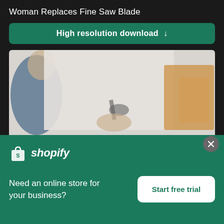Woman Replaces Fine Saw Blade
High resolution download ↓
[Figure (photo): Blurred/defocused photo of a woman working with a fine saw blade, showing a person in blue clothing on the left side and wooden objects on the right, with tools on a work surface in the center]
[Figure (logo): Shopify logo — shopping bag icon with 'S' plus italic text 'shopify' in white on green background]
Need an online store for your business?
Start free trial